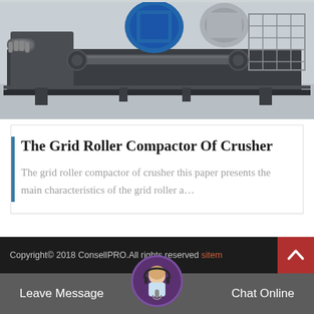[Figure (photo): Industrial roller compactor / crusher machine in a factory setting, showing heavy rollers, blue motor, and metal frame structure on a concrete floor]
The Grid Roller Compactor Of Crusher
The grid roller compactor of crusher this paper presents the main characteristics of the grid roller a…
Copyright© 2018 ConsellPRO.All rights reserved sitemap  |  Leave Message  |  Chat Online